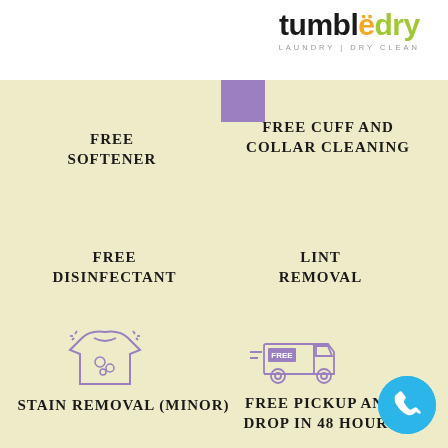[Figure (logo): Tumbledry logo with text LAUNDRY | DRY CLEAN]
FREE SOFTENER
FREE CUFF AND COLLAR CLEANING
FREE DISINFECTANT
LINT REMOVAL
[Figure (illustration): T-shirt with stain icon in purple outline]
STAIN REMOVAL (MINOR)
[Figure (illustration): Delivery truck with FREE label in purple outline]
FREE PICKUP AND DROP IN 48 HOURS
[Figure (illustration): Blue phone circle button]